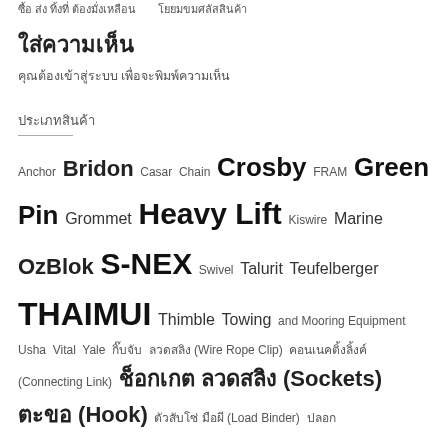ซื้อ ส่ง ทิ้งที่ ต้องมั่งเหลือน        โยยมขมศลัสสินค้า
ใส่ความเห็น
คุณต้องเข้าสู่ระบบ เพื่อจะพิมพ์ความเห็น
ประเภทสินค้า
Anchor Bridon Casar Chain Crosby FRAM Green Pin Grommet Heavy Lift Kiswire Marine OzBlok S-NEX Swivel Talurit Teufelberger THAIMUI Thimble Towing and Mooring Equipment Usha Vital Yale กิ๊บจับ ลวดสลิง (Wire Rope Clip) คอนเนคติ้งลิ้งค์ (Connecting Link) ช็อกเกต ลวดสลิง (Sockets) ตะขอ (Hook) ตัวสับโซ่ มือผี (Load Binder) ปลอก